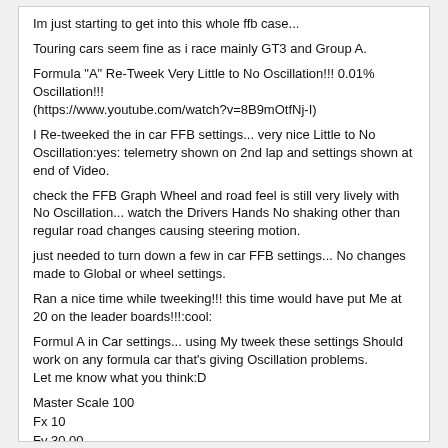Im just starting to get into this whole ffb case...
Touring cars seem fine as i race mainly GT3 and Group A.
Formula "A" Re-Tweek Very Little to No Oscillation!!! 0.01% Oscillation!!! (https://www.youtube.com/watch?v=8B9mOtfNj-I)
I Re-tweeked the in car FFB settings... very nice Little to No Oscillation:yes: telemetry shown on 2nd lap and settings shown at end of Video.
check the FFB Graph Wheel and road feel is still very lively with No Oscillation... watch the Drivers Hands No shaking other than regular road changes causing steering motion.
just needed to turn down a few in car FFB settings... No changes made to Global or wheel settings.
Ran a nice time while tweeking!!! this time would have put Me at 20 on the leader boards!!!:cool:
Formul A in Car settings... using My tweek these settings Should work on any formula car that's giving Oscillation problems.
Let me know what you think:D
Master Scale 100
Fx 10
Fy 30.00
Fz 50.01
Mz 20.00
Body Scale 0.01
Body stiffness 50.00
SoP Scale 100
Sop Lat 10.0
Sop Dif 50.00